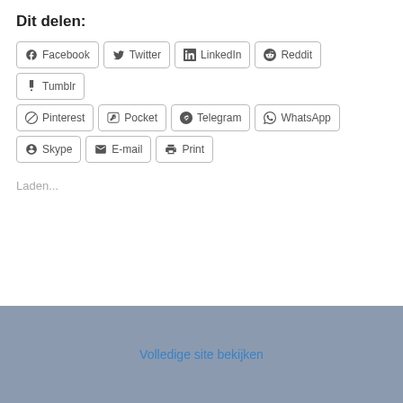Dit delen:
Facebook
Twitter
LinkedIn
Reddit
Tumblr
Pinterest
Pocket
Telegram
WhatsApp
Skype
E-mail
Print
Laden...
15 , jun, 2019
12 reacties
Volledige site bekijken